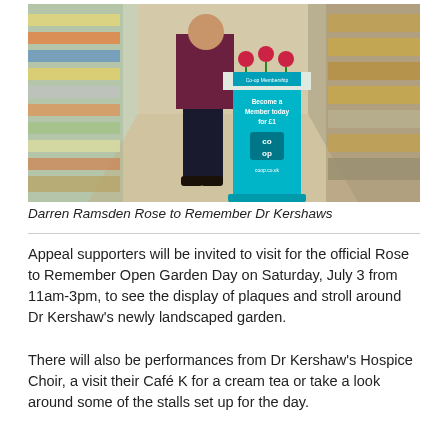[Figure (photo): Person standing in a supermarket aisle next to a cyan/teal Co-op membership stand displaying roses. The stand reads 'Become a Member today for £1', shows the Co-op logo, and 'coop.co.uk'. Store shelves visible on both sides.]
Darren Ramsden Rose to Remember Dr Kershaws
Appeal supporters will be invited to visit for the official Rose to Remember Open Garden Day on Saturday, July 3 from 11am-3pm, to see the display of plaques and stroll around Dr Kershaw's newly landscaped garden.
There will also be performances from Dr Kershaw's Hospice Choir, a visit their Café K for a cream tea or take a look around some of the stalls set up for the day.